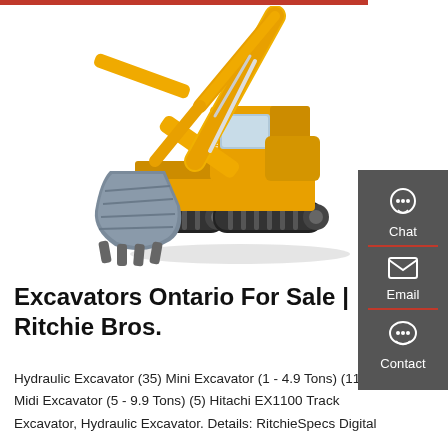[Figure (photo): Yellow hydraulic excavator (SINOMACH brand) with extended boom and bucket, on a white background, facing left]
Excavators Ontario For Sale | Ritchie Bros.
Hydraulic Excavator (35) Mini Excavator (1 - 4.9 Tons) (11) Midi Excavator (5 - 9.9 Tons) (5) Hitachi EX1100 Track Excavator, Hydraulic Excavator. Details: RitchieSpecs Digital